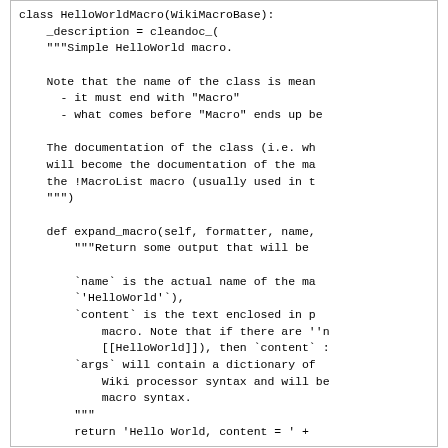[Figure (screenshot): Code block showing HelloWorldMacro class definition with expand_macro method and docstrings]
Note that expand_macro optionally takes a 4th parameter args . When the macro is called as a WikiProcessor, it is also possible to pass key=value processor parameters. If given